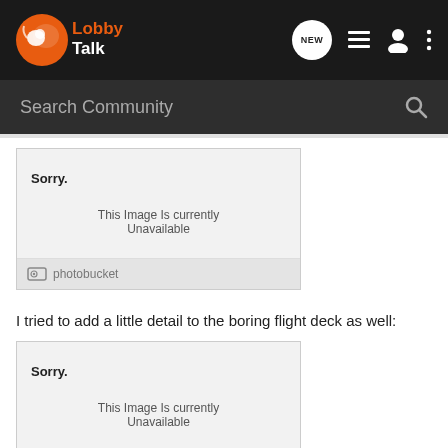LobbyTalk navigation bar with logo and icons
Search Community
[Figure (screenshot): Photobucket unavailable image placeholder showing 'Sorry. This Image Is Currently Unavailable' with photobucket logo footer]
I tried to add a little detail to the boring flight deck as well:
[Figure (screenshot): Second Photobucket unavailable image placeholder showing 'Sorry. This Image Is Currently Unavailable']